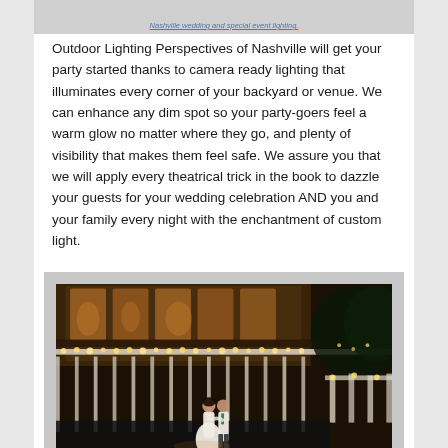Nashville wedding and special event lighting.
Outdoor Lighting Perspectives of Nashville will get your party started thanks to camera ready lighting that illuminates every corner of your backyard or venue. We can enhance any dim spot so your party-goers feel a warm glow no matter where they go, and plenty of visibility that makes them feel safe. We assure you that we will apply every theatrical trick in the book to dazzle your guests for your wedding celebration AND you and your family every night with the enchantment of custom light.
[Figure (photo): Couple dancing outdoors at a venue with warm string lights along white railings and fencing at night]